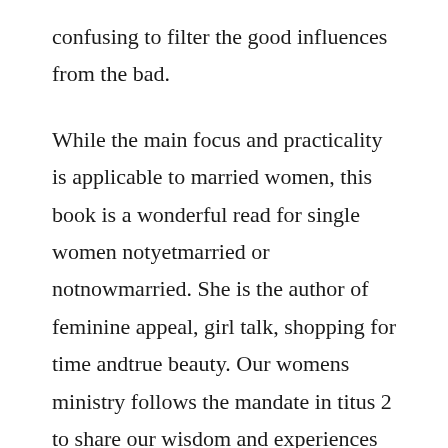confusing to filter the good influences from the bad.
While the main focus and practicality is applicable to married women, this book is a wonderful read for single women notyetmarried or notnowmarried. She is the author of feminine appeal, girl talk, shopping for time andtrue beauty. Our womens ministry follows the mandate in titus 2 to share our wisdom and experiences and grow together as women. In this book of instruction for women of all ages, carolyn mahaney explores seven